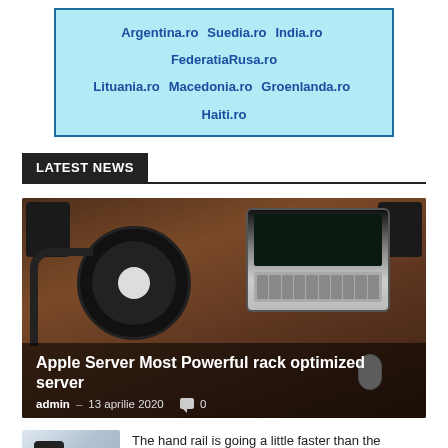[Figure (other): Banner with country domain links: Argentina.ro Suedia.ro India.ro FederatiaRusa.ro Lituania.ro Macedonia.ro Groenlanda.ro Haiti.ro]
LATEST NEWS
[Figure (photo): Top-down photo of a desk with a vinyl turntable, laptop, headphones, speakers, and mouse on a wood surface]
Apple Server Most Powerful rack optimized server
admin – 13 aprilie 2020  0
The hand rail is going a little faster than the moving sidewalk.